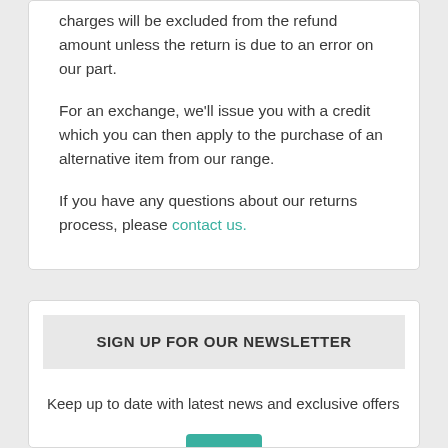charges will be excluded from the refund amount unless the return is due to an error on our part.
For an exchange, we'll issue you with a credit which you can then apply to the purchase of an alternative item from our range.
If you have any questions about our returns process, please contact us.
SIGN UP FOR OUR NEWSLETTER
Keep up to date with latest news and exclusive offers